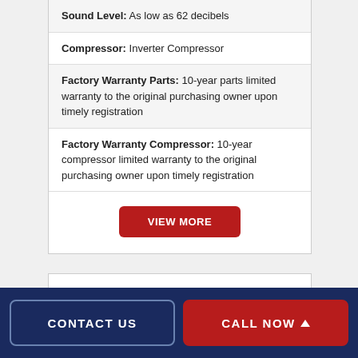Sound Level: As low as 62 decibels
Compressor: Inverter Compressor
Factory Warranty Parts: 10-year parts limited warranty to the original purchasing owner upon timely registration
Factory Warranty Compressor: 10-year compressor limited warranty to the original purchasing owner upon timely registration
VIEW MORE
CONTACT US
CALL NOW